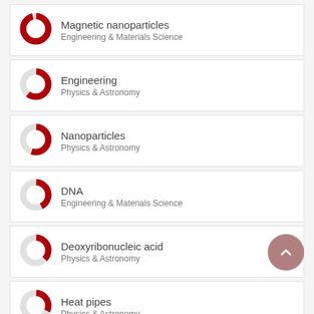[Figure (donut-chart): Nearly full donut chart in dark red/crimson, Engineering & Materials Science]
Magnetic nanoparticles
Engineering & Materials Science
[Figure (donut-chart): ~60% filled donut chart in dark red, Physics & Astronomy]
Engineering
Physics & Astronomy
[Figure (donut-chart): ~55% filled donut chart in dark red, Physics & Astronomy]
Nanoparticles
Physics & Astronomy
[Figure (donut-chart): ~40% filled donut chart in dark red, Engineering & Materials Science]
DNA
Engineering & Materials Science
[Figure (donut-chart): ~35% filled donut chart in dark red, Physics & Astronomy]
Deoxyribonucleic acid
Physics & Astronomy
[Figure (donut-chart): ~30% filled donut chart in dark red, Physics & Astronomy]
Heat pipes
Physics & Astronomy
[Figure (donut-chart): ~28% filled donut chart in dark red, Engineering & Materials Science]
Heat pipes
Engineering & Materials Science